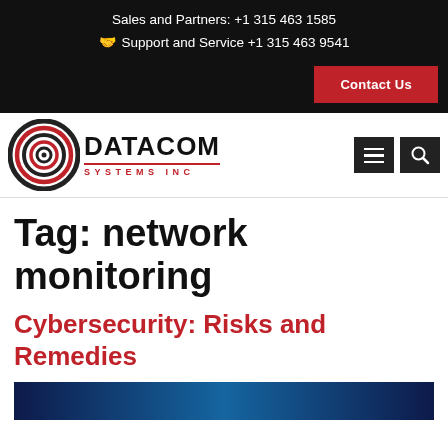Sales and Partners: +1 315 463 1585 | Support and Service +1 315 463 9541
Contact Us
[Figure (logo): Datacom Systems Inc logo with circular red concentric rings icon and bold DATACOM SYSTEMS INC text]
Tag: network monitoring
Cybersecurity: Risks and Remedies
[Figure (screenshot): Blue gradient banner image at bottom of page]